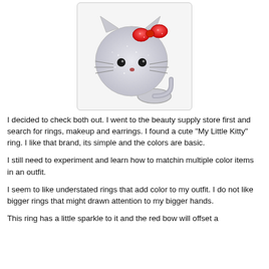[Figure (photo): A sparkly diamond-encrusted Hello Kitty ring with a red bow made of red gemstones, on a silver band.]
I decided to check both out. I went to the beauty supply store first and search for rings, makeup and earrings. I found a cute "My Little Kitty" ring. I like that brand, its simple and the colors are basic.
I still need to experiment and learn how to matchin multiple color items in an outfit.
I seem to like understated rings that add color to my outfit. I do not like bigger rings that might drawn attention to my bigger hands.
This ring has a little sparkle to it and the red bow will offset a